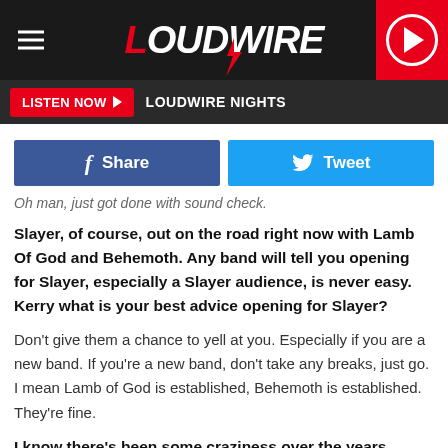LOUDWIRE
LISTEN NOW  LOUDWIRE NIGHTS
[Figure (other): Facebook Share button and Twitter Tweet button]
Oh man, just got done with sound check.
Slayer, of course, out on the road right now with Lamb Of God and Behemoth. Any band will tell you opening for Slayer, especially a Slayer audience, is never easy. Kerry what is your best advice opening for Slayer?
Don't give them a chance to yell at you. Especially if you are a new band. If you're a new band, don't take any breaks, just go. I mean Lamb of God is established, Behemoth is established. They're fine.
I know there's been some craziness over the years